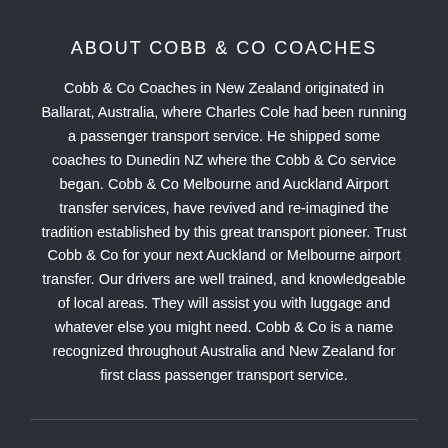ABOUT COBB & CO COACHES
Cobb & Co Coaches in New Zealand originated in Ballarat, Australia, where Charles Cole had been running a passenger transport service. He shipped some coaches to Dunedin NZ where the Cobb & Co service began. Cobb & Co Melbourne and Auckland Airport transfer services, have revived and re-imagined the tradition established by this great transport pioneer. Trust Cobb & Co for your next Auckland or Melbourne airport transfer. Our drivers are well trained, and knowledgeable of local areas. They will assist you with luggage and whatever else you might need. Cobb & Co is a name recognized throughout Australia and New Zealand for first class passenger transport service.